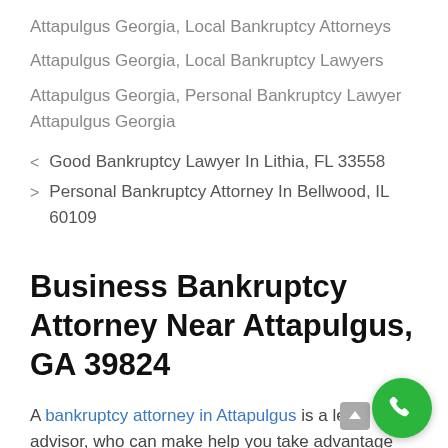Attapulgus Georgia, Local Bankruptcy Attorneys
Attapulgus Georgia, Local Bankruptcy Lawyers
Attapulgus Georgia, Personal Bankruptcy Lawyer Attapulgus Georgia
< Good Bankruptcy Lawyer In Lithia, FL 33558
> Personal Bankruptcy Attorney In Bellwood, IL 60109
Business Bankruptcy Attorney Near Attapulgus, GA 39824
A bankruptcy attorney in Attapulgus is a legal advisor, who can make help you take advantage